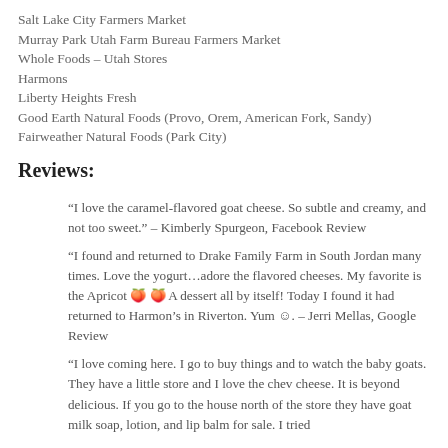Salt Lake City Farmers Market
Murray Park Utah Farm Bureau Farmers Market
Whole Foods – Utah Stores
Harmons
Liberty Heights Fresh
Good Earth Natural Foods (Provo, Orem, American Fork, Sandy)
Fairweather Natural Foods (Park City)
Reviews:
“I love the caramel-flavored goat cheese. So subtle and creamy, and not too sweet.” – Kimberly Spurgeon, Facebook Review
“I found and returned to Drake Family Farm in South Jordan many times. Love the yogurt…adore the flavored cheeses. My favorite is the Apricot 🍑 🍑 A dessert all by itself! Today I found it had returned to Harmon’s in Riverton. Yum ☺. – Jerri Mellas, Google Review
“I love coming here. I go to buy things and to watch the baby goats. They have a little store and I love the chev cheese. It is beyond delicious. If you go to the house north of the store they have goat milk soap, lotion, and lip balm for sale. I tried